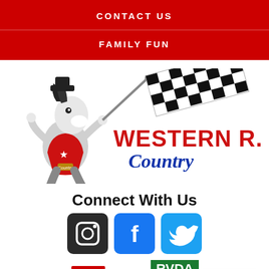CONTACT US
FAMILY FUN
[Figure (logo): Western R.V. Country logo with cartoon horse mascot holding a checkered racing flag]
Connect With Us
[Figure (infographic): Social media icons: Instagram (dark square), Facebook (blue square), Twitter (light blue square)]
[Figure (logo): AMVIC logo and RVDA Recreation Vehicle Dealers logo]
Text us!